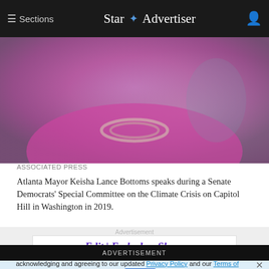≡ Sections  Star ✦ Advertiser  [user icon]
[Figure (photo): Close-up photo of Atlanta Mayor Keisha Lance Bottoms wearing a magenta/fuchsia jacket and pearl necklace]
ASSOCIATED PRESS

Atlanta Mayor Keisha Lance Bottoms speaks during a Senate Democrats' Special Committee on the Climate Crisis on Capitol Hill in Washington in 2019.
Advertisement
Edit | Embed or Share
ADVERTISEMENT
ℹ Our Privacy Policy has been updated. By continuing to use our site, you are acknowledging and agreeing to our updated Privacy Policy and our Terms of Service.  I Agree